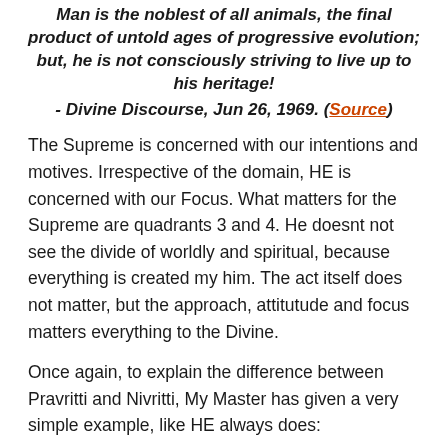Man is the noblest of all animals, the final product of untold ages of progressive evolution; but, he is not consciously striving to live up to his heritage! - Divine Discourse, Jun 26, 1969. (Source)
The Supreme is concerned with our intentions and motives. Irrespective of the domain, HE is concerned with our Focus. What matters for the Supreme are quadrants 3 and 4. He doesnt not see the divide of worldly and spiritual, because everything is created my him. The act itself does not matter, but the approach, attitutude and focus matters everything to the Divine.
Once again, to explain the difference between Pravritti and Nivritti, My Master has given a very simple example, like HE always does: